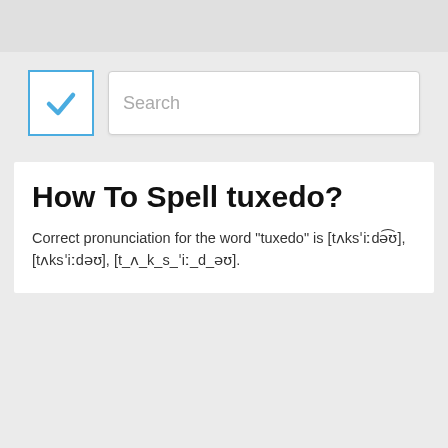[Figure (screenshot): Top navigation bar with a checkbox icon (blue checkmark) and a search input field with placeholder text 'Search']
How To Spell tuxedo?
Correct pronunciation for the word "tuxedo" is [tʌksˈiːdə͡ʊ], [tʌksˈiːdəʊ], [t_ʌ_k_s_ˈiː_d_əʊ].